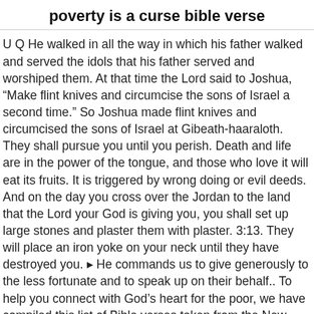poverty is a curse bible verse
U Q He walked in all the way in which his father walked and served the idols that his father served and worshiped them. At that time the Lord said to Joshua, “Make flint knives and circumcise the sons of Israel a second time.” So Joshua made flint knives and circumcised the sons of Israel at Gibeath-haaraloth. They shall pursue you until you perish. Death and life are in the power of the tongue, and those who love it will eat its fruits. It is triggered by wrong doing or evil deeds. And on the day you cross over the Jordan to the land that the Lord your God is giving you, you shall set up large stones and plaster them with plaster. 3:13. They will place an iron yoke on your neck until they have destroyed you. ▸ He commands us to give generously to the less fortunate and to speak up on their behalf.. To help you connect with God’s heart for the poor, we have compiled this list of Bible verses taken from the New International Version that speak to how God asks us to relate